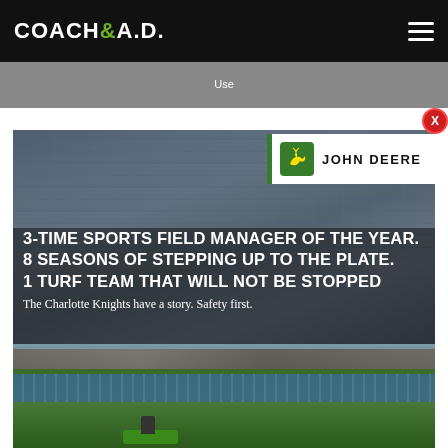COACH&A.D.
Use
[Figure (photo): John Deere branded sports field advertisement featuring aerial/ground view of a baseball stadium with text overlay: 3-TIME SPORTS FIELD MANAGER OF THE YEAR. 8 SEASONS OF STEPPING UP TO THE PLATE. 1 TURF TEAM THAT WILL NOT BE STOPPED. The Charlotte Knights have a story. Safety first. John Deere logo shown top right. Bottom portion shows stadium seats and a person operating a green John Deere mower on the field.]